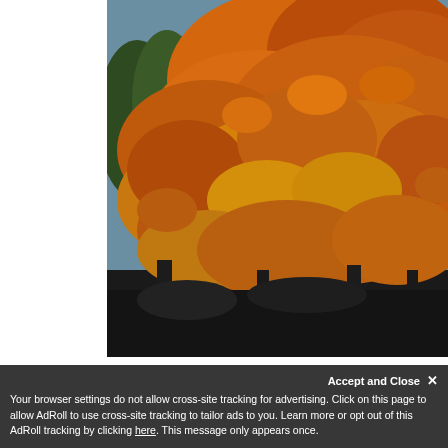[Figure (photo): A large tree with dense orange, red, and yellow autumn foliage filling most of the frame. The lower portion shows a dark shadowed area with trees and a street or parking area in the background. The photo occupies the right portion of the page, with a white strip on the left side.]
Accept and Close ✕
Your browser settings do not allow cross-site tracking for advertising. Click on this page to allow AdRoll to use cross-site tracking to tailor ads to you. Learn more or opt out of this AdRoll tracking by clicking here. This message only appears once.